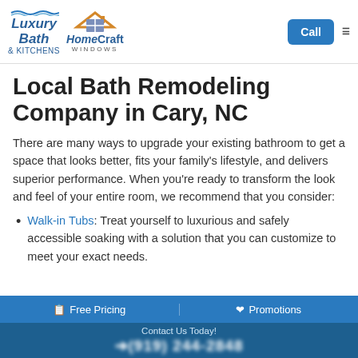[Figure (logo): Luxury Bath & Kitchens and HomeCraft Windows logos in header]
Local Bath Remodeling Company in Cary, NC
There are many ways to upgrade your existing bathroom to get a space that looks better, fits your family's lifestyle, and delivers superior performance. When you're ready to transform the look and feel of your entire room, we recommend that you consider:
Walk-in Tubs: Treat yourself to luxurious and safely accessible soaking with a solution that you can customize to meet your exact needs.
Free Pricing   Promotions   Contact Us Today!